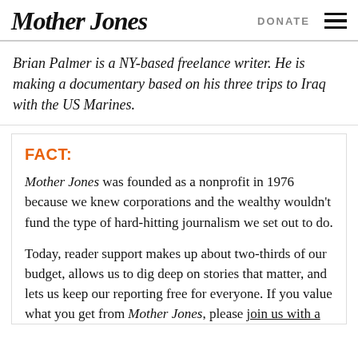Mother Jones | DONATE
Brian Palmer is a NY-based freelance writer. He is making a documentary based on his three trips to Iraq with the US Marines.
FACT:
Mother Jones was founded as a nonprofit in 1976 because we knew corporations and the wealthy wouldn't fund the type of hard-hitting journalism we set out to do.
Today, reader support makes up about two-thirds of our budget, allows us to dig deep on stories that matter, and lets us keep our reporting free for everyone. If you value what you get from Mother Jones, please join us with a tax-deductible donation today, so we can...